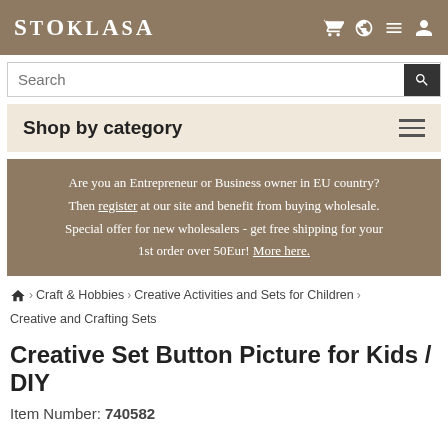STOKLASA
Search
Shop by category
Are you an Entrepreneur or Business owner in EU country? Then register at our site and benefit from buying wholesale. Special offer for new wholesalers - get free shipping for your 1st order over 50Eur! More here.
Craft & Hobbies > Creative Activities and Sets for Children > Creative and Crafting Sets
Creative Set Button Picture for Kids / DIY
Item Number: 740582